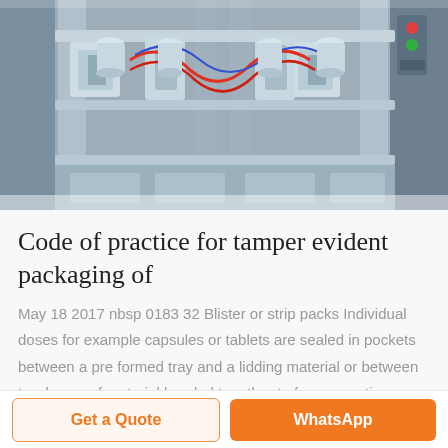[Figure (photo): Industrial packaging machinery — stainless steel blister/strip pack filling and sealing machine with mechanical arms, red wiring, and control panel visible on the right side.]
Code of practice for tamper evident packaging of
May 18 2017 nbsp 0183 32 Blister or strip packs Individual doses for example capsules or tablets are sealed in pockets between a pre formed tray and a lidding material or between two layers of material bonded together to form a continuous strip so that the dosage units are separated and individually protected
Get a Quote | WhatsApp